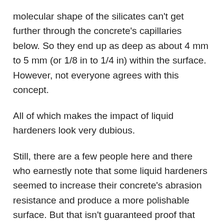molecular shape of the silicates can't get further through the concrete's capillaries below. So they end up as deep as about 4 mm to 5 mm (or 1/8 in to 1/4 in) within the surface. However, not everyone agrees with this concept.
All of which makes the impact of liquid hardeners look very dubious.
Still, there are a few people here and there who earnestly note that some liquid hardeners seemed to increase their concrete's abrasion resistance and produce a more polishable surface. But that isn't guaranteed proof that you can buy just any liquid hardener and get good results. In fact, the online publication Concrete Decor recommends that for the most accurate results, contractors should